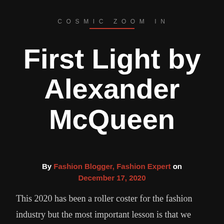COSMIC ZOOM IN
First Light by Alexander McQueen
By Fashion Blogger, Fashion Expert on December 17, 2020
This 2020 has been a roller coster for the fashion industry but the most important lesson is that we need to start to choose carefully and with more consious buying